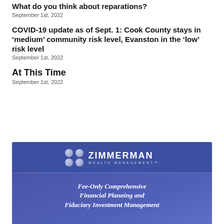What do you think about reparations?
September 1st, 2022
COVID-19 update as of Sept. 1: Cook County stays in ‘medium’ community risk level, Evanston in the ‘low’ risk level
September 1st, 2022
At This Time
September 1st, 2022
[Figure (logo): Zimmerman Wealth Management advertisement. Blue background with logo showing four spherical bubbles arranged in a 2x2 grid. Text reads: ZIMMERMAN WEALTH MANAGEMENT (trademark). Tagline: Fee-Only Comprehensive Financial Planning and Fiduciary Investment Management]